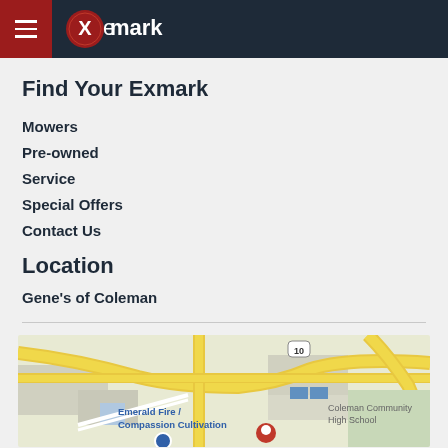eXmark
Find Your Exmark
Mowers
Pre-owned
Service
Special Offers
Contact Us
Location
Gene's of Coleman
[Figure (map): Google Maps view showing roads near Coleman, including highway 10, Emerald Fire / Compassion Cultivation, and Coleman Community High School, with a red location pin visible at the bottom.]